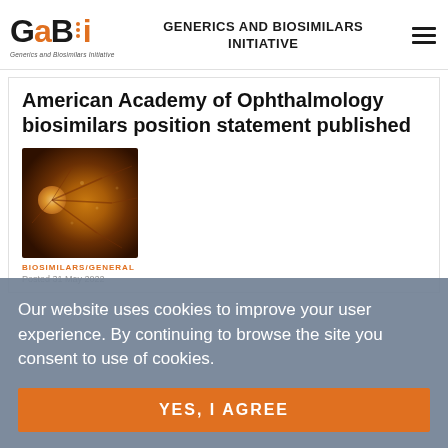GENERICS AND BIOSIMILARS INITIATIVE
American Academy of Ophthalmology biosimilars position statement published
[Figure (photo): Fundus photograph of a human eye showing the optic disc and retinal vasculature with an orange/amber background]
BIOSIMILARS/GENERAL
Posted 31 May 2022
Our website uses cookies to improve your user experience. By continuing to browse the site you consent to use of cookies.
YES, I AGREE